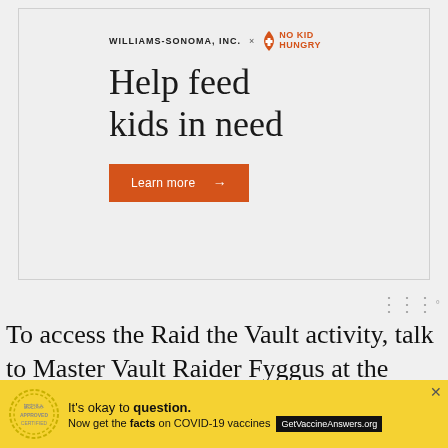[Figure (infographic): Williams-Sonoma Inc. x No Kid Hungry advertisement banner. White/light grey background. Logo line: 'WILLIAMS-SONOMA, INC. × NO KID HUNGRY' with orange No Kid Hungry logo. Large serif headline: 'Help feed kids in need'. Orange button: 'Learn more →'.]
To access the Raid the Vault activity, talk to Master Vault Raider Fyggus at the Court of
[Figure (infographic): Bottom banner ad on yellow background. Stamp/seal graphic on left. Text: "It's okay to question." in bold. "Now get the facts on COVID-19 vaccines" with button 'GetVaccineAnswers.org'. X close button top right.]